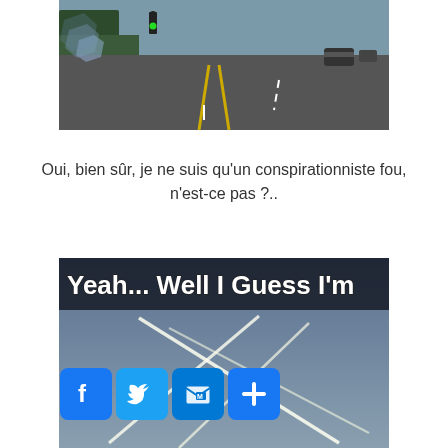[Figure (photo): Street view photo of a road with a green traffic light, yellow lane markings, trees on left, a car visible in distance on right, taken from a driver's perspective.]
Oui, bien sûr, je ne suis qu'un conspirationniste fou, n'est-ce pas ?..
[Figure (photo): Meme image showing a sky with chemtrail contrails forming a cross-hatch pattern. Text at top reads 'Yeah... Well I Guess I'm'. Social media sharing icons (Facebook, Twitter, Outlook, plus button) overlaid at bottom left.]